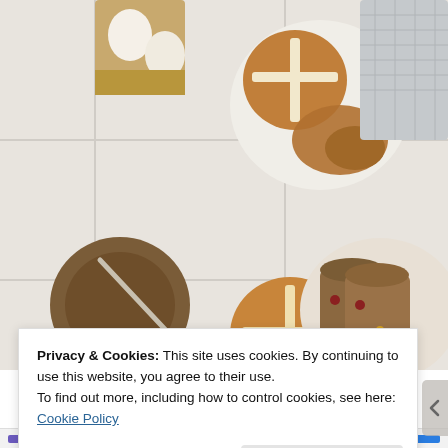[Figure (photo): Top-down food photography showing hot cross buns on white ceramic plates, a cup of coffee/tea with a spoon, eggs in a carton, a grey waffle-weave cloth, sliced fruit bread on a plate with butter, and buns on a cooling rack, all arranged on a white tile surface.]
Privacy & Cookies: This site uses cookies. By continuing to use this website, you agree to their use.
To find out more, including how to control cookies, see here: Cookie Policy
Close and accept